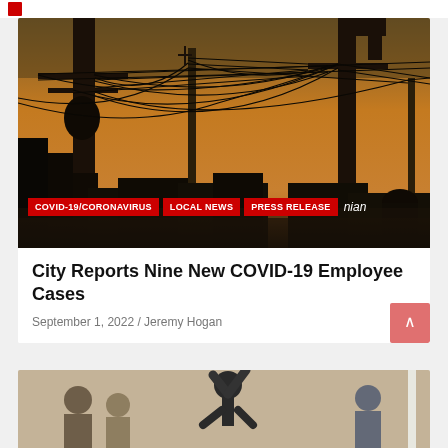[Figure (photo): Silhouette of utility poles and tangled power lines against an orange/golden sunset sky, with dark building rooftops below]
COVID-19/CORONAVIRUS  LOCAL NEWS  PRESS RELEASE
City Reports Nine New COVID-19 Employee Cases
September 1, 2022 / Jeremy Hogan
[Figure (photo): Partial view of people in a room, person doing a headstand or acrobatic move visible]